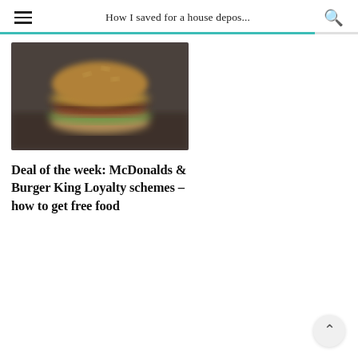How I saved for a house depos...
[Figure (photo): Blurred photograph of a hamburger/burger on a dark background]
Deal of the week: McDonalds & Burger King Loyalty schemes – how to get free food